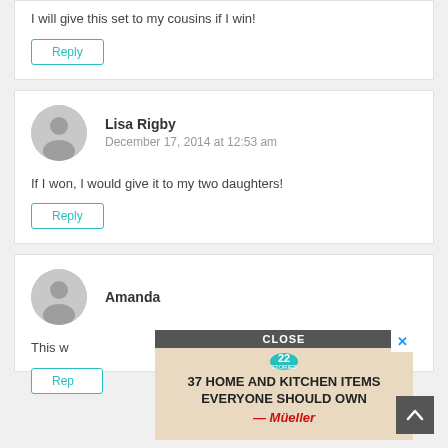I will give this set to my cousins if I win!
Reply
Lisa Rigby
December 17, 2014 at 12:53 am
If I won, I would give it to my two daughters!
Reply
Amanda
This w
Rep
[Figure (screenshot): Advertisement overlay showing '37 HOME AND KITCHEN ITEMS EVERYONE SHOULD OWN' with Mueller branding and a close button]